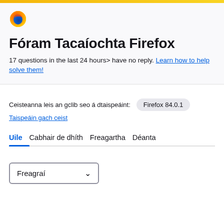Fóram Tacaíochta Firefox
17 questions in the last 24 hours> have no reply. Learn how to help solve them!
Ceisteanna leis an gclib seo á dtaispeáint: Firefox 84.0.1
Taispeáin gach ceist
Uile  Cabhair de dhíth  Freagartha  Déanta
Freagraí